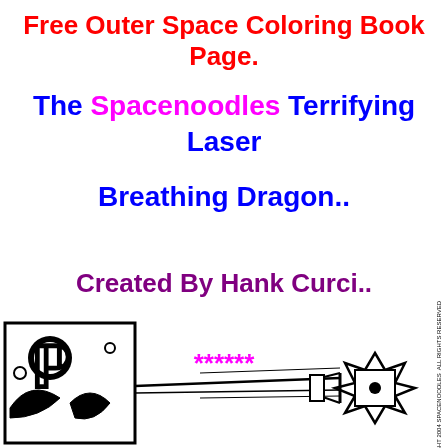Free Outer Space Coloring Book Page.
The Spacenoodles Terrifying Laser Breathing Dragon..
Created By Hank Curci..
******
[Figure (illustration): Coloring book illustration showing a dragon character with a laser weapon on the right side, and a decorative letter/character on the left in a bordered box. Black and white line art. Copyright 2004 Spacenoodles, All Rights Reserved text along right edge.]
COPYRIGHT 2004 SPA ALL RIGHTS RESE